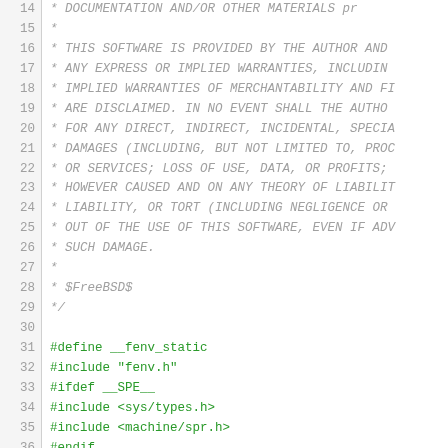Source code listing lines 14-44, C header file with BSD license comment and preprocessor directives